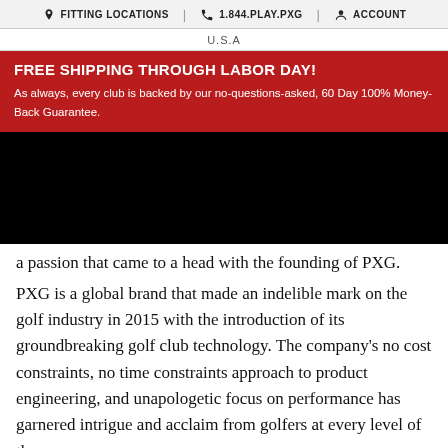FITTING LOCATIONS | 1.844.PLAY.PXG | ACCOUNT
U.S.A
FREE SHIPPING THROUGH LABOR DAY!
As always, every club is backed by our no-questions-asked, 60 Day 100% Money-Back Guarantee.
[Figure (photo): Black band/image area obscuring content]
a passion that came to a head with the founding of PXG. PXG is a global brand that made an indelible mark on the golf industry in 2015 with the introduction of its groundbreaking golf club technology. The company's no cost constraints, no time constraints approach to product engineering, and unapologetic focus on performance has garnered intrigue and acclaim from golfers at every level of the game.